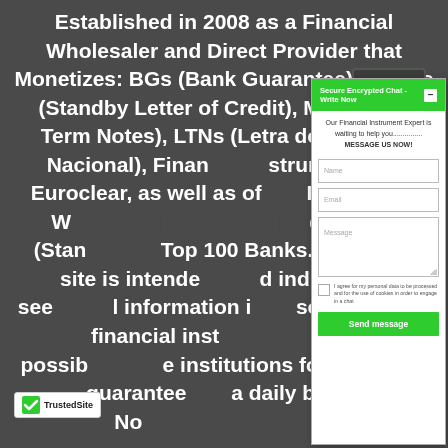Established in 2008 as a Financial Wholesaler and Direct Provider that Monetizes: BGs (Bank Guarantee), SBLCs (Standby Letter of Credit), MTNs (Mid Term Notes), LTNs (Letra do Tesouro Nacional), Financial Instruments on Euroclear, as well as offering Private Placement Programs). We monetize BGs and SBLCs (Standby Letter of Credit) from Top 100 Banks. This site is intended for corporations and individuals seeking general financial information investment sources, PPP financial instruments. We may list possible financial institutions for review that are guaranteed on a daily basis. No solicitation.
[Figure (screenshot): Secure Encrypted Chat popup widget showing a chat dialog with header 'Secure Encrypted Chat - Write Now', greeting text 'Our Financial Instrument Expert is waiting to help you............... MESSAGE US NOW!', input fields for Name, Email, and Message, a checkbox for data consent, and a green 'Send message' button. A circular icon with arrows is shown in the upper left corner of the popup.]
[Figure (logo): TrustedSite badge with checkmark logo and text 'TrustedSite']